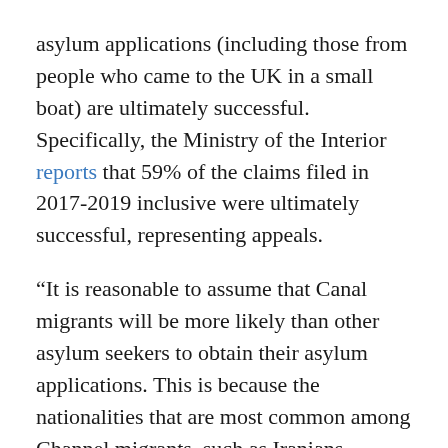asylum applications (including those from people who came to the UK in a small boat) are ultimately successful. Specifically, the Ministry of the Interior reports that 59% of the claims filed in 2017-2019 inclusive were ultimately successful, representing appeals.
“It is reasonable to assume that Canal migrants will be more likely than other asylum seekers to obtain their asylum applications. This is because the nationalities that are most common among Channel migrants, such as Iranians, Syrians, Afghans, and Yemenis, have an above-average chance of ultimately succeeding. It is not clear what evidence exists to support the claim that 70% of Canal